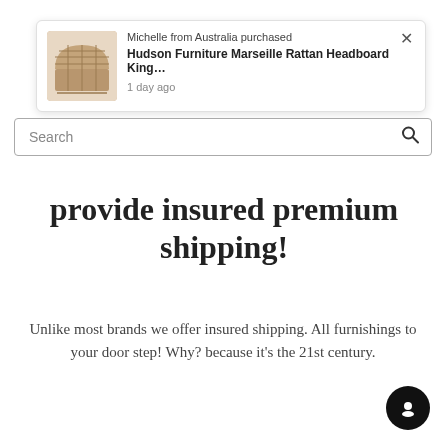[Figure (screenshot): E-commerce notification popup showing a product purchase by Michelle from Australia: Hudson Furniture Marseille Rattan Headboard King... with a thumbnail image of the headboard, 1 day ago timestamp, and a close (×) button.]
[Figure (screenshot): Search bar input field with a magnifying glass icon on the right, partially visible at the top of the main page.]
provide insured premium shipping!
Unlike most brands we offer insured shipping. All furnishings to your door step! Why? because it's the 21st century.